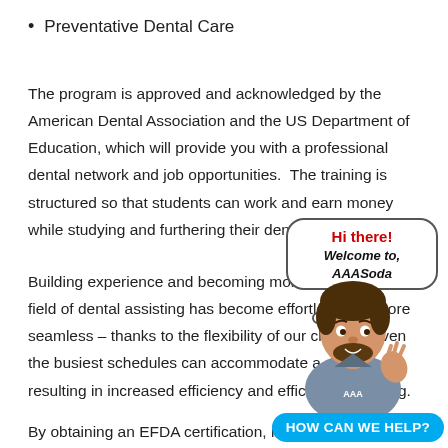Preventative Dental Care
The program is approved and acknowledged by the American Dental Association and the US Department of Education, which will provide you with a professional dental network and job opportunities.  The training is structured so that students can work and earn money while studying and furthering their dentistry expertise.
Building experience and becoming more proficient in the field of dental assisting has become effortless and more seamless – thanks to the flexibility of our classes. Even the busiest schedules can accommodate a class, resulting in increased efficiency and efficacy of learning.
By obtaining an EFDA certification, individuals can jumpstart
[Figure (illustration): Cartoon mascot of a man with beard wearing a grey AAA shirt, with a speech bubble saying 'Hi there! Welcome to, AAASoda' and a cyan button below reading 'HOW CAN WE HELP?']